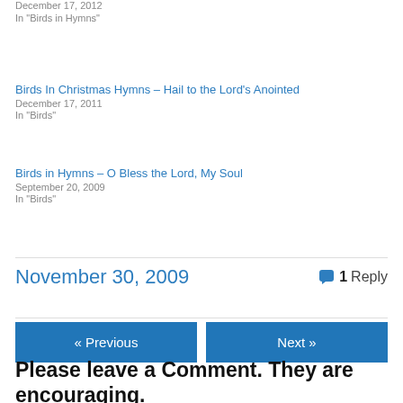December 17, 2012
In "Birds in Hymns"
Birds In Christmas Hymns – Hail to the Lord's Anointed
December 17, 2011
In "Birds"
Birds in Hymns – O Bless the Lord, My Soul
September 20, 2009
In "Birds"
November 30, 2009
1 Reply
« Previous
Next »
Please leave a Comment. They are encouraging.